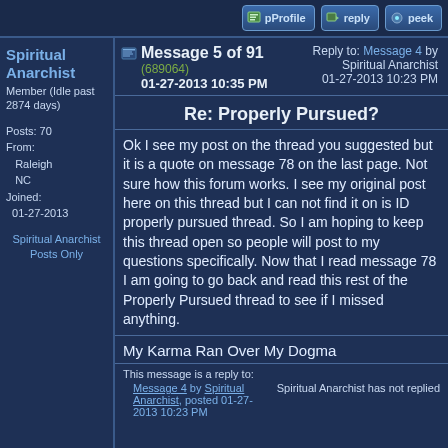pProfile | reply | peek
Spiritual Anarchist
Member (Idle past 2874 days)
Posts: 70
From: Raleigh NC
Joined: 01-27-2013
Spiritual Anarchist Posts Only
Message 5 of 91
(689064)
01-27-2013 10:35 PM
Reply to: Message 4 by Spiritual Anarchist
01-27-2013 10:23 PM
Re: Properly Pursued?
Ok I see my post on the thread you suggested but it is a quote on message 78 on the last page. Not sure how this forum works. I see my original post here on this thread but I can not find it on is ID properly pursued thread. So I am hoping to keep this thread open so people will post to my questions specifically. Now that I read message 78 I am going to go back and read this rest of the Properly Pursued thread to see if I missed anything.
My Karma Ran Over My Dogma
This message is a reply to:
Message 4 by Spiritual Anarchist, posted 01-27-2013 10:23 PM
Spiritual Anarchist has not replied